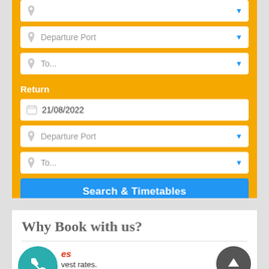[Figure (screenshot): Ferry booking widget with orange background showing departure port, destination dropdowns, return date field (21/08/2022), return departure port, return destination dropdowns, and a blue Search & Timetables button, with Ferries-Booking.com logo at bottom]
Why Book with us?
[Figure (infographic): Teal phone icon circle on left, dark grey up-arrow circle on right, with text: 'es' (partially visible orange italic), 'vest rates.', 'No booking fees. Save money!', 'High quality travel services with speed, safety, economy, quality']